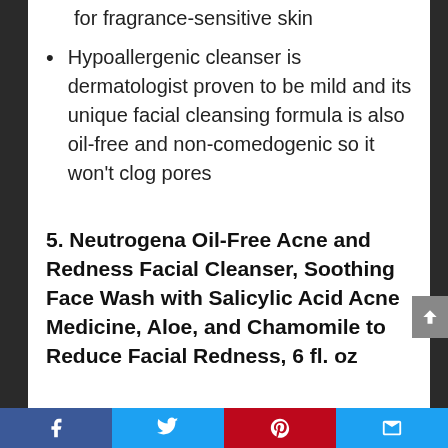for fragrance-sensitive skin
Hypoallergenic cleanser is dermatologist proven to be mild and its unique facial cleansing formula is also oil-free and non-comedogenic so it won't clog pores
5. Neutrogena Oil-Free Acne and Redness Facial Cleanser, Soothing Face Wash with Salicylic Acid Acne Medicine, Aloe, and Chamomile to Reduce Facial Redness, 6 fl. oz
Facebook | Twitter | Pinterest | Email